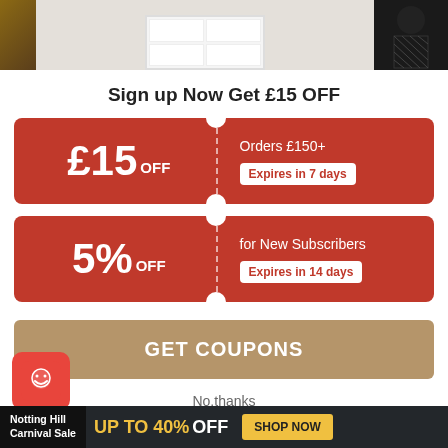[Figure (screenshot): Top image strip showing furniture/clothing items]
Sign up Now Get £15 OFF
[Figure (infographic): Red coupon for £15 OFF on Orders £150+, Expires in 7 days]
[Figure (infographic): Red coupon for 5% OFF for New Subscribers, Expires in 14 days]
GET COUPONS
No,thanks
[Figure (logo): Red smiley logo icon]
Notting Hill Carnival Sale UP TO 40% OFF SHOP NOW